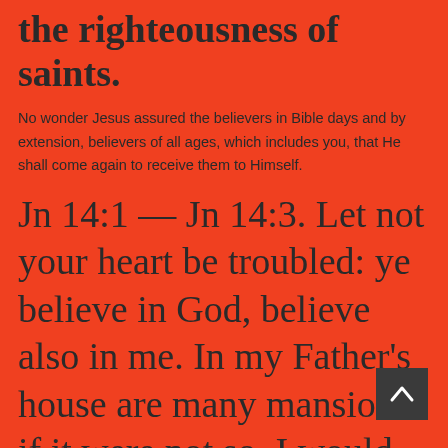the righteousness of saints.
No wonder Jesus assured the believers in Bible days and by extension, believers of all ages, which includes you, that He shall come again to receive them to Himself.
Jn 14:1 — Jn 14:3. Let not your heart be troubled: ye believe in God, believe also in me. In my Father's house are many mansions: if it were not so, I would have told you. I go to